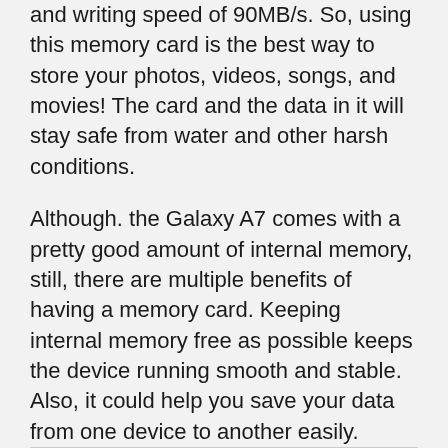and writing speed of 90MB/s. So, using this memory card is the best way to store your photos, videos, songs, and movies! The card and the data in it will stay safe from water and other harsh conditions.
Although. the Galaxy A7 comes with a pretty good amount of internal memory, still, there are multiple benefits of having a memory card. Keeping internal memory free as possible keeps the device running smooth and stable. Also, it could help you save your data from one device to another easily.
You can buy it here.